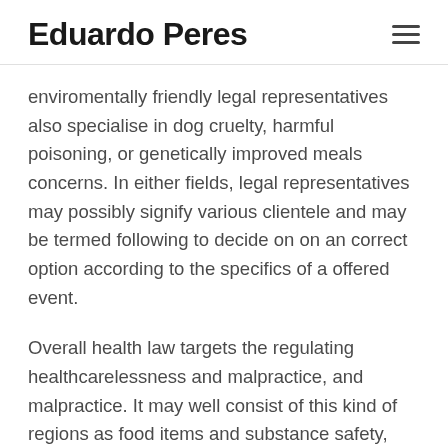Eduardo Peres
enviromentally friendly legal representatives also specialise in dog cruelty, harmful poisoning, or genetically improved meals concerns. In either fields, legal representatives may possibly signify various clientele and may be termed following to decide on on an correct option according to the specifics of a offered event.
Overall health law targets the regulating healthcarelessness and malpractice, and malpractice. It may well consist of this kind of regions as food items and substance safety, asbestos fibers regulation, and drug regulations. Health careservice providers and clients, and schools are included in this place of rules. A doctor could depict a healthcare facility inside